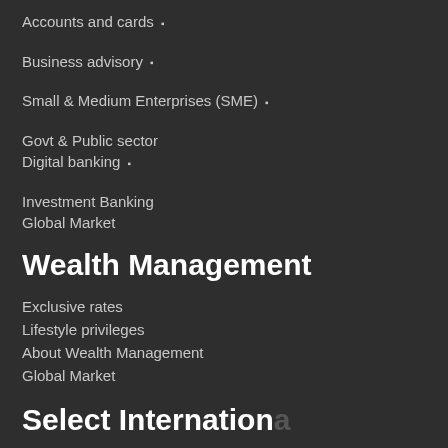Accounts and cards
Business advisory
Small & Medium Enterprises (SME)
Govt & Public sector
Digital banking
Investment Banking
Global Market
Wealth Management
Exclusive rates
Lifestyle privileges
About Wealth Management
Global Market
Select International